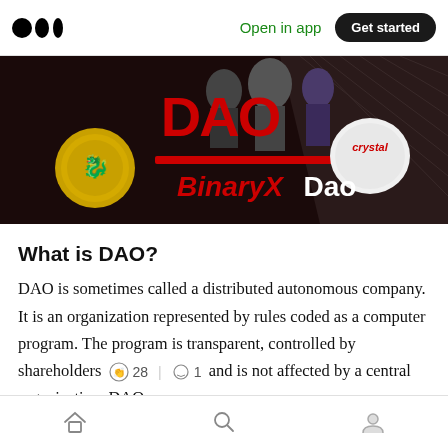Open in app  Get started
[Figure (illustration): BinaryX DAO promotional banner with game characters, a gold dragon coin, a crystal token, red 'DAO' text, and 'BinaryX Dao' branding on dark background]
What is DAO?
DAO is sometimes called a distributed autonomous company. It is an organization represented by rules coded as a computer program. The program is transparent, controlled by shareholders  👏 28  | 💬 1  and is not affected by a central organization. DAO uses